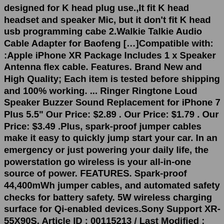designed for K head plug use.,It fit K head headset and speaker Mic, but it don't fit K head usb programming cabe 2.Walkie Talkie Audio Cable Adapter for Baofeng [...]Compatible with: :Apple iPhone XR Package Includes 1 x Speaker Antenna flex cable. Features. Brand New and High Quality; Each item is tested before shipping and 100% working. ... Ringer Ringtone Loud Speaker Buzzer Sound Replacement for iPhone 7 Plus 5.5" Our Price: $2.89 . Our Price: $1.79 . Our Price: $3.49 .Plus, spark-proof jumper cables make it easy to quickly jump start your car. In an emergency or just powering your daily life, the powerstation go wireless is your all-in-one source of power. FEATURES. Spark-proof 44,400mWh jumper cables, and automated safety checks for battery safety. 5W wireless charging surface for Qi-enabled devices.Sony Support XR-55X90S. Article ID : 00115213 / Last Modified : 17/07/2019. ... Select options by pressing the "plus" button. This is the round button in the centre of the circular Menu area of your remote. ...